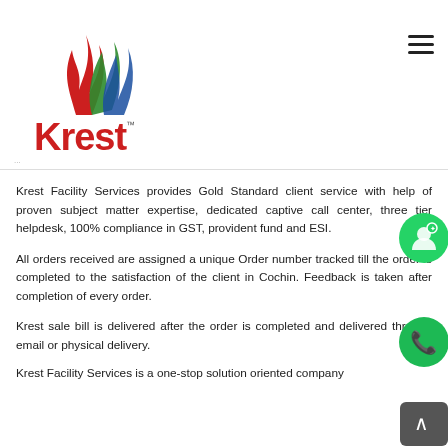[Figure (logo): Krest logo with colored wave/flame symbol in red, green, and blue above the text 'Krest' in red with TM superscript]
Krest Facility Services provides Gold Standard client service with help of proven subject matter expertise, dedicated captive call center, three tier helpdesk, 100% compliance in GST, provident fund and ESI.
All orders received are assigned a unique Order number tracked till the order is completed to the satisfaction of the client in Cochin. Feedback is taken after completion of every order.
Krest sale bill is delivered after the order is completed and delivered through email or physical delivery.
Krest Facility Services is a one-stop solution oriented company